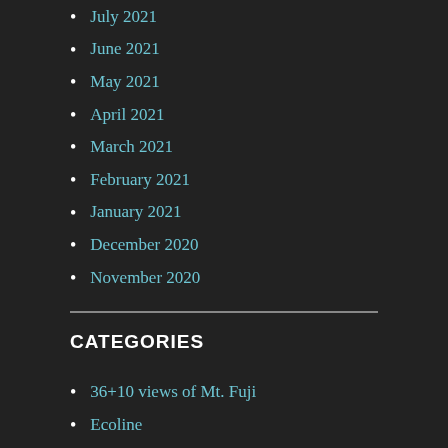July 2021
June 2021
May 2021
April 2021
March 2021
February 2021
January 2021
December 2020
November 2020
CATEGORIES
36+10 views of Mt. Fuji
Ecoline
Fillers